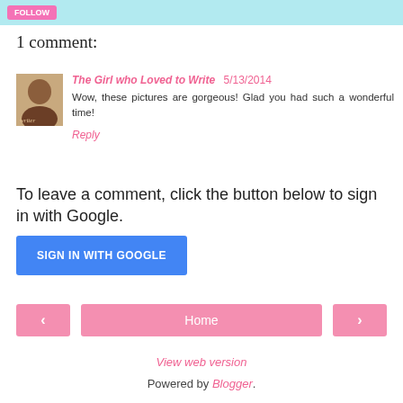[Figure (screenshot): Light blue top bar with a pink button]
1 comment:
[Figure (photo): Avatar photo of commenter - person with dark hair]
The Girl who Loved to Write  5/13/2014
Wow, these pictures are gorgeous! Glad you had such a wonderful time!
Reply
To leave a comment, click the button below to sign in with Google.
[Figure (screenshot): Blue SIGN IN WITH GOOGLE button]
[Figure (screenshot): Navigation bar with left arrow, Home button, right arrow]
View web version
Powered by Blogger.